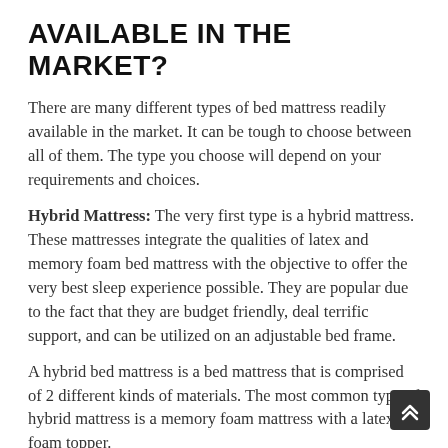AVAILABLE IN THE MARKET?
There are many different types of bed mattress readily available in the market. It can be tough to choose between all of them. The type you choose will depend on your requirements and choices.
Hybrid Mattress: The very first type is a hybrid mattress. These mattresses integrate the qualities of latex and memory foam bed mattress with the objective to offer the very best sleep experience possible. They are popular due to the fact that they are budget friendly, deal terrific support, and can be utilized on an adjustable bed frame.
A hybrid bed mattress is a bed mattress that is comprised of 2 different kinds of materials. The most common type of hybrid mattress is a memory foam mattress with a latex foam topper.